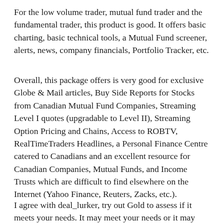For the low volume trader, mutual fund trader and the fundamental trader, this product is good. It offers basic charting, basic technical tools, a Mutual Fund screener, alerts, news, company financials, Portfolio Tracker, etc.
Overall, this package offers is very good for exclusive Globe & Mail articles, Buy Side Reports for Stocks from Canadian Mutual Fund Companies, Streaming Level I quotes (upgradable to Level II), Streaming Option Pricing and Chains, Access to ROBTV, RealTimeTraders Headlines, a Personal Finance Centre catered to Canadians and an excellent resource for Canadian Companies, Mutual Funds, and Income Trusts which are difficult to find elsewhere on the Internet (Yahoo Finance, Reuters, Zacks, etc.).
I agree with deal_lurker, try out Gold to assess if it meets your needs. It may meet your needs or it may not.